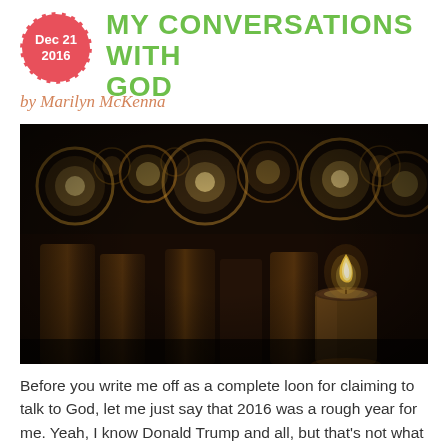Dec 21 2016
MY CONVERSATIONS WITH GOD
by Marilyn McKenna
[Figure (photo): Dark atmospheric photo of lit tea-light candles with bokeh effect showing glowing circular lights in background and a single lit candle in foreground right]
Before you write me off as a complete loon for claiming to talk to God, let me just say that 2016 was a rough year for me. Yeah, I know Donald Trump and all, but that's not what I'm talking about.